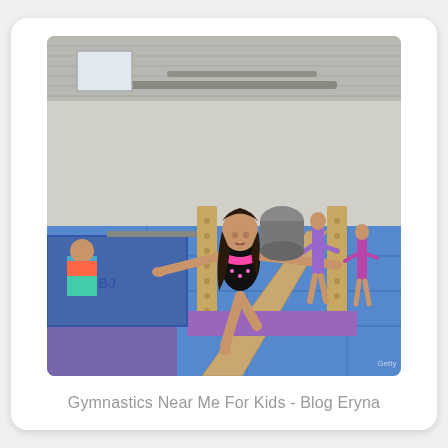[Figure (photo): A young girl in a black and pink gymnastics leotard balancing on a balance beam in a gymnastics gym, arms outstretched, with blue mats and gymnastics equipment visible in the background, and other gymnasts in the distance.]
Gymnastics Near Me For Kids - Blog Eryna